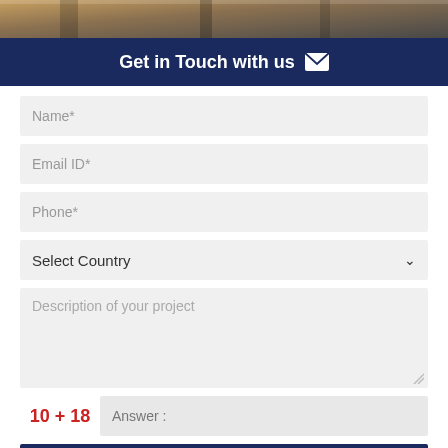[Figure (photo): Partial view of a building interior or exterior with warm tones, architectural elements visible at the top of the page.]
Get in Touch with us ✉
Name*
Email ID*
Phone*
Select Country
Description of your project
10 + 18
Answer :
SUBMIT